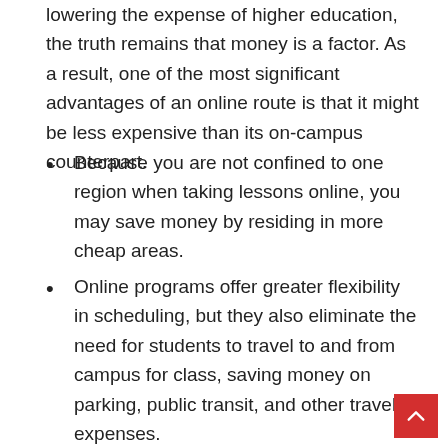lowering the expense of higher education, the truth remains that money is a factor. As a result, one of the most significant advantages of an online route is that it might be less expensive than its on-campus counterpart.
Because you are not confined to one region when taking lessons online, you may save money by residing in more cheap areas.
Online programs offer greater flexibility in scheduling, but they also eliminate the need for students to travel to and from campus for class, saving money on parking, public transit, and other travel expenses.
Some colleges provide online programs that allow students to choose whether or not to pay extra fees for on-campus services.